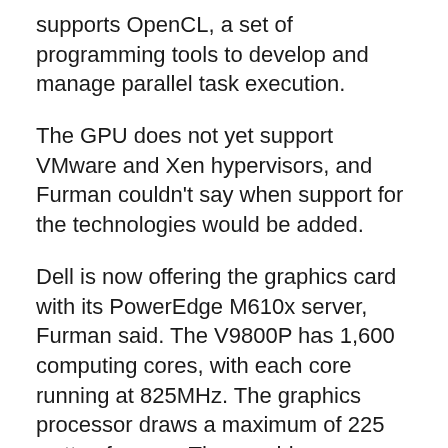supports OpenCL, a set of programming tools to develop and manage parallel task execution.
The GPU does not yet support VMware and Xen hypervisors, and Furman couldn't say when support for the technologies would be added.
Dell is now offering the graphics card with its PowerEdge M610x server, Furman said. The V9800P has 1,600 computing cores, with each core running at 825MHz. The graphics processor draws a maximum of 225 watts of power. The graphics processor is priced starting at US$2,499, and AMD did not immediately comment on worldwide availability.